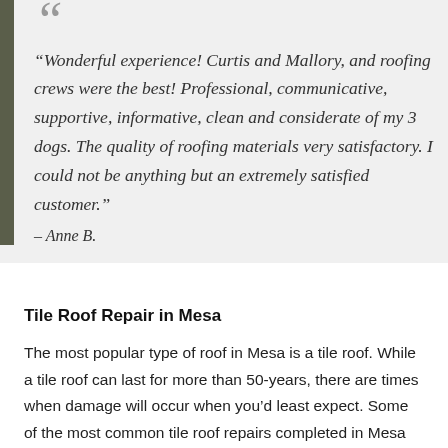“Wonderful experience! Curtis and Mallory, and roofing crews were the best! Professional, communicative, supportive, informative, clean and considerate of my 3 dogs. The quality of roofing materials very satisfactory. I could not be anything but an extremely satisfied customer.” – Anne B.
Tile Roof Repair in Mesa
The most popular type of roof in Mesa is a tile roof. While a tile roof can last for more than 50-years, there are times when damage will occur when you’d least expect. Some of the most common tile roof repairs completed in Mesa include: